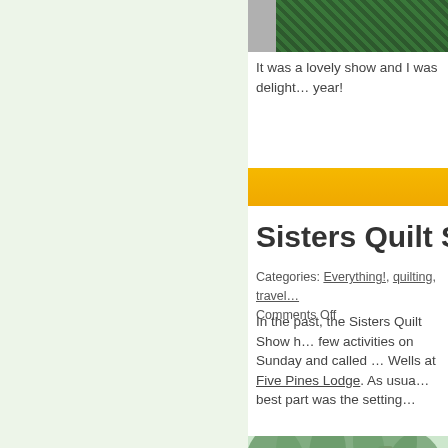[Figure (photo): Top portion of a photo showing dark green pine tree branches against a gray/dark background, partially cropped]
It was a lovely show and I was delight… year!
[Figure (other): Orange/yellow horizontal bar, decorative divider]
Sisters Quilt Show
Categories: Everything!, quilting, travel… Comments Off
In the past, the Sisters Quilt Show h… few activities on Sunday and called … Wells at Five Pines Lodge. As usua… best part was the setting…
[Figure (photo): Photo of tall pine trees with sunlight filtering through, looking up at tree trunks and canopy]